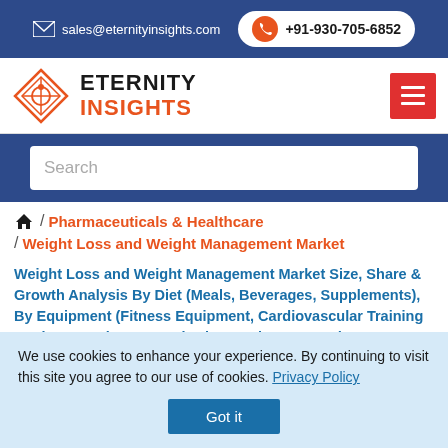sales@eternityinsights.com  +91-930-705-6852
[Figure (logo): Eternity Insights logo with diamond shape and company name]
Search
/ Pharmaceuticals & Healthcare / Weight Loss and Weight Management Market
Weight Loss and Weight Management Market Size, Share & Growth Analysis By Diet (Meals, Beverages, Supplements), By Equipment (Fitness Equipment, Cardiovascular Training Equipment, Fitness Monitoring Equipment, Body Composition Analyzers, Surgical Equipment, Minimally
We use cookies to enhance your experience. By continuing to visit this site you agree to our use of cookies. Privacy Policy Got it